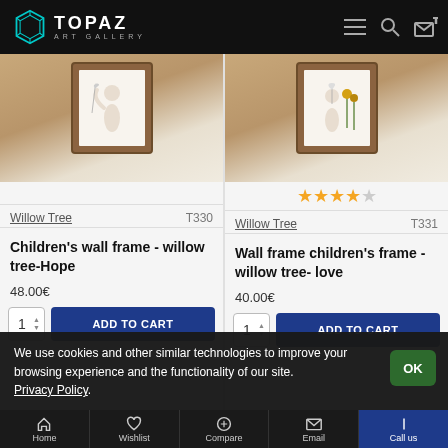[Figure (logo): Topaz Art Gallery logo with hexagonal icon in teal and white text on black header bar]
[Figure (photo): Framed wall art with willow tree figurine sculpture (Hope) in wooden frame]
[Figure (photo): Framed wall art with willow tree figurine sculpture (Love) in wooden frame, with 4-star rating]
Willow Tree   T330
Willow Tree   T331
Children's wall frame - willow tree-Hope
Wall frame children's frame -willow tree- love
48.00€
40.00€
We use cookies and other similar technologies to improve your browsing experience and the functionality of our site. Privacy Policy.
Home   Wishlist   Compare   Email   Call us